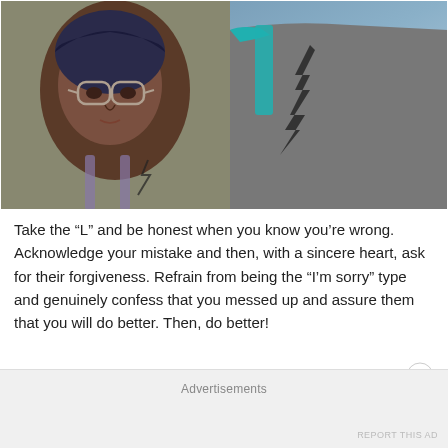[Figure (photo): A woman wearing glasses and a dark head wrap rests her head on the shoulder/back of a man with a tattoo on his shoulder. The man is wearing a teal-trimmed gray tank top. They appear to be outdoors near water.]
Take the “L” and be honest when you know you’re wrong. Acknowledge your mistake and then, with a sincere heart, ask for their forgiveness. Refrain from being the “I’m sorry” type and genuinely confess that you messed up and assure them that you will do better. Then, do better!
Advertisements